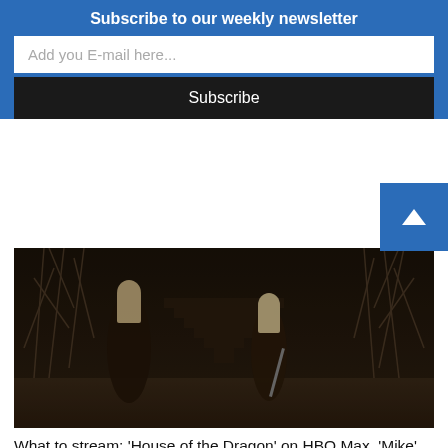Subscribe to our weekly newsletter
Add you E-mail here...
Subscribe
[Figure (photo): Dark fantasy scene showing two figures in dark robes standing in a dimly lit hall filled with skeletal or branch-like structures, one figure holding a sword, reminiscent of a medieval/fantasy TV show setting (House of the Dragon).]
What to stream: ‘House of the Dragon’ on HBO Max, ‘Mike’ on Hulu, ‘Everything I Know About Love’ on Peacock, ‘Me Time’ on Netflix